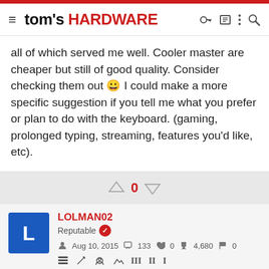tom's HARDWARE
all of which served me well. Cooler master are cheaper but still of good quality. Consider checking them out 🙂 I could make a more specific suggestion if you tell me what you prefer or plan to do with the keyboard. (gaming, prolonged typing, streaming, features you'd like, etc).
[Figure (other): Vote up/down arrows with count 0 in red]
LOLMAN02
Reputable
Aug 10, 2015  133  0  4,680  0
Dec 10, 2015  #3
[Figure (other): Back to School Bitdefender ad banner with -58% discount]